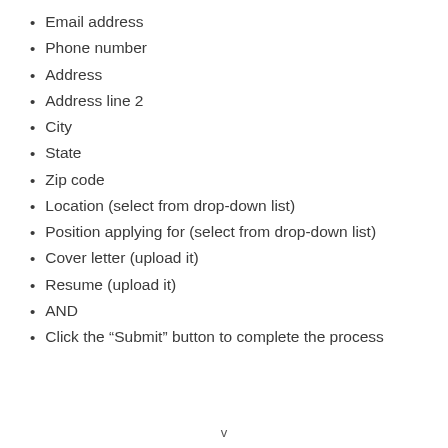Email address
Phone number
Address
Address line 2
City
State
Zip code
Location (select from drop-down list)
Position applying for (select from drop-down list)
Cover letter (upload it)
Resume (upload it)
AND
Click the “Submit” button to complete the process
v